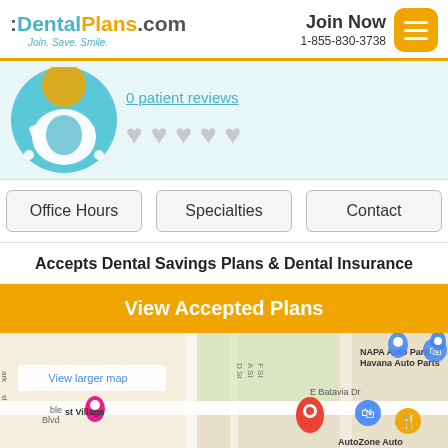:DentalPlans.com Join. Save. Smile. | Join Now 1-855-830-3738
0 patient reviews
Office Hours | Specialties | Contact
Accepts Dental Savings Plans & Dental Insurance
View Accepted Plans
[Figure (map): Google Maps embedded map showing location near NAPA Auto Parts - Havana Auto Parts, E Batavia Dr, AutoZone Auto, and Holiday Inn Express & Suites Denver Aurora. Red pin marks the dental office location.]